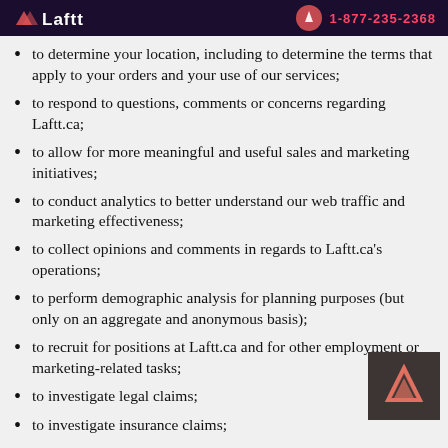Laftt
to determine your location, including to determine the terms that apply to your orders and your use of our services;
to respond to questions, comments or concerns regarding Laftt.ca;
to allow for more meaningful and useful sales and marketing initiatives;
to conduct analytics to better understand our web traffic and marketing effectiveness;
to collect opinions and comments in regards to Laftt.ca's operations;
to perform demographic analysis for planning purposes (but only on an aggregate and anonymous basis);
to recruit for positions at Laftt.ca and for other employment or marketing-related tasks;
to investigate legal claims;
to investigate insurance claims;